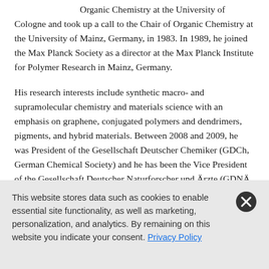Organic Chemistry at the University of Cologne and took up a call to the Chair of Organic Chemistry at the University of Mainz, Germany, in 1983. In 1989, he joined the Max Planck Society as a director at the Max Planck Institute for Polymer Research in Mainz, Germany.
His research interests include synthetic macro- and supramolecular chemistry and materials science with an emphasis on graphene, conjugated polymers and dendrimers, pigments, and hybrid materials. Between 2008 and 2009, he was President of the Gesellschaft Deutscher Chemiker (GDCh, German Chemical Society) and he has been the Vice President of the Gesellschaft Deutscher Naturforscher und Ärzte (GDNÄ, German Society of Scientists and Doctors) since 2011.
This website stores data such as cookies to enable essential site functionality, as well as marketing, personalization, and analytics. By remaining on this website you indicate your consent. Privacy Policy